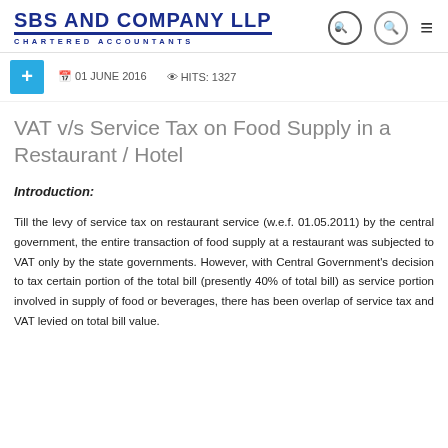SBS AND COMPANY LLP CHARTERED ACCOUNTANTS
01 JUNE 2016   HITS: 1327
VAT v/s Service Tax on Food Supply in a Restaurant / Hotel
Introduction:
Till the levy of service tax on restaurant service (w.e.f. 01.05.2011) by the central government, the entire transaction of food supply at a restaurant was subjected to VAT only by the state governments. However, with Central Government's decision to tax certain portion of the total bill (presently 40% of total bill) as service portion involved in supply of food or beverages, there has been overlap of service tax and VAT levied on total bill value.